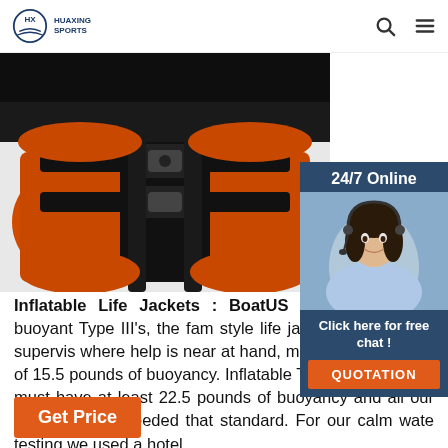HUAXING SPORTS
[Figure (photo): Close-up photo of an orange and black inflatable life jacket with buckles and straps]
[Figure (photo): 24/7 Online chat widget with a smiling customer service woman wearing a headset. Includes 'Click here for free chat!' and 'QUOTATION' button.]
Inflatable Life Jackets : BoatUS Found Inherently buoyant Type III's, the fam style life jackets intended for supervis where help is near at hand, must provi minimum of 15.5 pounds of buoyancy. Inflatable Type IIIs, however, must have at least 22.5 pounds of buoyancy and all our test models exceeded that standard. For our calm wate testing we used a hotel ...
[Figure (logo): TOP badge logo in orange and navy]
Get Price